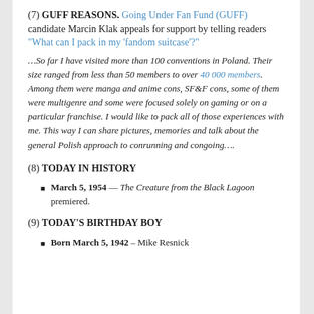(7) GUFF REASONS. Going Under Fan Fund (GUFF) candidate Marcin Klak appeals for support by telling readers “What can I pack in my ‘fandom suitcase’?”
…So far I have visited more than 100 conventions in Poland. Their size ranged from less than 50 members to over 40 000 members. Among them were manga and anime cons, SF&F cons, some of them were multigenre and some were focused solely on gaming or on a particular franchise. I would like to pack all of those experiences with me. This way I can share pictures, memories and talk about the general Polish approach to conrunning and congoing….
(8) TODAY IN HISTORY
March 5, 1954 — The Creature from the Black Lagoon premiered.
(9) TODAY’S BIRTHDAY BOY
Born March 5, 1942 – Mike Resnick